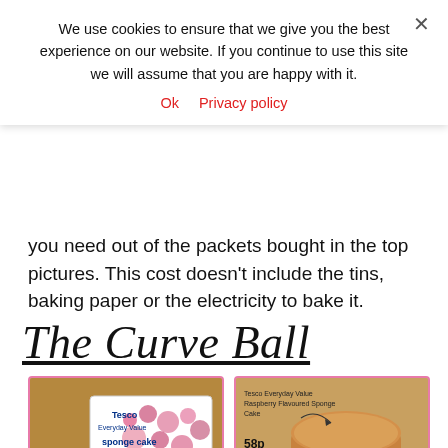We use cookies to ensure that we give you the best experience on our website. If you continue to use this site we will assume that you are happy with it.
Ok   Privacy policy
you need out of the packets bought in the top pictures. This cost doesn't include the tins, baking paper or the electricity to bake it.
The Curve Ball
[Figure (photo): Tesco Everyday Value sponge cake box with price label 58p]
[Figure (photo): Tesco Everyday Value Raspberry Flavoured Sponge Cake on a red and white striped plate, price label 58p]